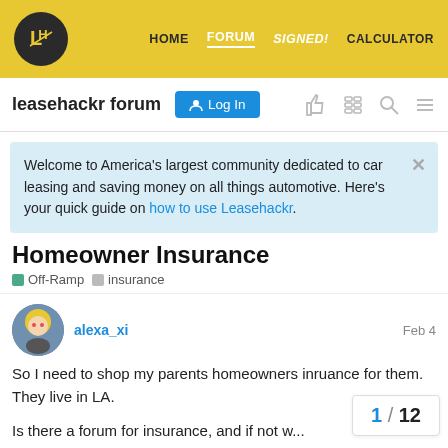HOME  FORUM  SIGNED!  CALCULATOR
leasehackr forum
Welcome to America's largest community dedicated to car leasing and saving money on all things automotive. Here's your quick guide on how to use Leasehackr.
Homeowner Insurance
Off-Ramp  insurance
alexa_xi  Feb 4
So I need to shop my parents homeowners inruance for them. They live in LA.

Is there a forum for insurance, and if not w...
1 / 12